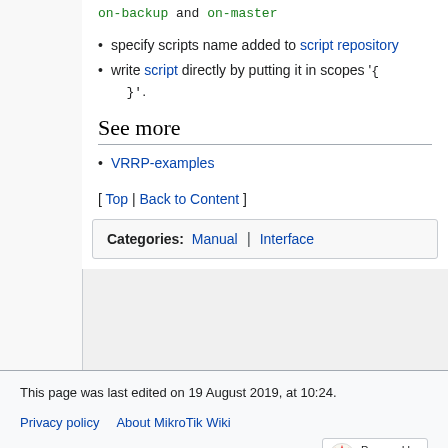on-backup and on-master
specify scripts name added to script repository
write script directly by putting it in scopes '{ }'.
See more
VRRP-examples
[ Top | Back to Content ]
Categories:  Manual  |  Interface
This page was last edited on 19 August 2019, at 10:24.
Privacy policy    About MikroTik Wiki
Disclaimers